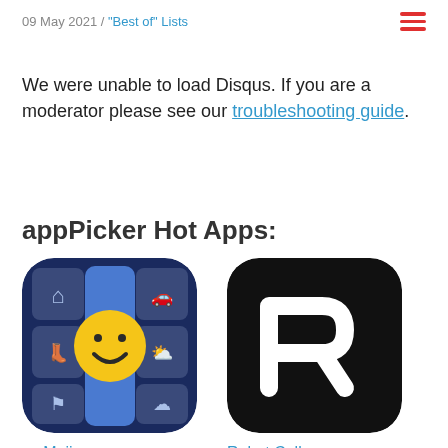09 May 2021 / "Best of" Lists
We were unable to load Disqus. If you are a moderator please see our troubleshooting guide.
appPicker Hot Apps:
[Figure (illustration): myMojis app icon - keyboard app with emoji smiley face on blue background with various small icons]
myMojis
Free
[Figure (illustration): Robot Call Blocker app icon - stylized R letter on black background with rounded corners]
Robot Call Blocker
Free